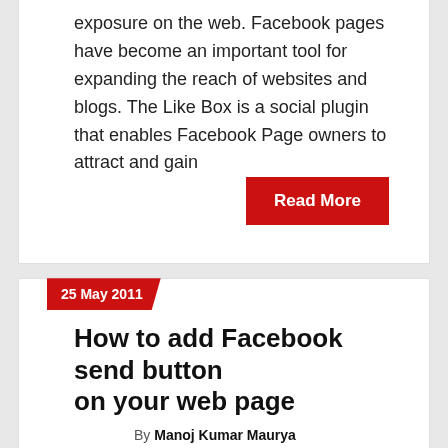exposure on the web. Facebook pages have become an important tool for expanding the reach of websites and blogs. The Like Box is a social plugin that enables Facebook Page owners to attract and gain
Read More
25 May 2011
How to add Facebook send button on your web page
By Manoj Kumar Maurya
Facebook, News Updates, Social Media    0 Comment
Facebook released new plugins “Send” for increasing engagement like other facebook plugins. What is Facebook send button? The Send Button allows your users to easily send your content to their friends. People will have the option to send your URL in an inbox message to their Facebook